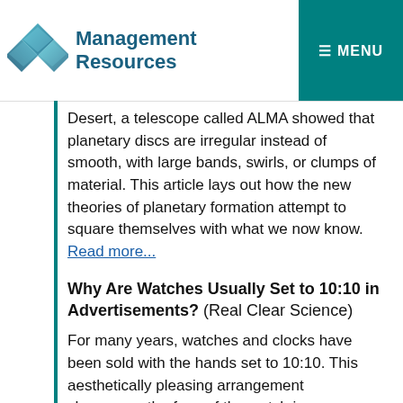Management Resources
Desert, a telescope called ALMA showed that planetary discs are irregular instead of smooth, with large bands, swirls, or clumps of material. This article lays out how the new theories of planetary formation attempt to square themselves with what we now know. Read more...
Why Are Watches Usually Set to 10:10 in Advertisements? (Real Clear Science)
For many years, watches and clocks have been sold with the hands set to 10:10. This aesthetically pleasing arrangement showcases the face of the watch in an appealing way and to